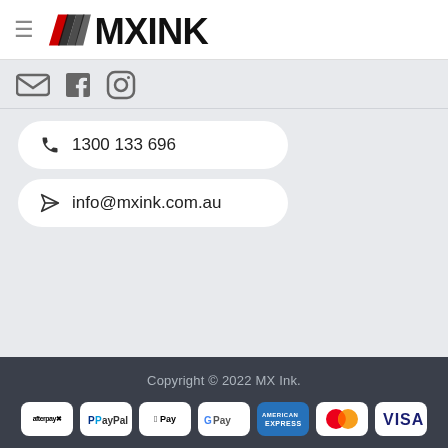[Figure (logo): MX Ink logo with red and black chevron mark and bold MXINK text]
[Figure (infographic): Social media icons: email, Facebook, Instagram]
1300 133 696
info@mxink.com.au
Copyright © 2022 MX Ink.
[Figure (infographic): Payment method icons: Afterpay, PayPal, Apple Pay, Google Pay, American Express, Mastercard, Visa]